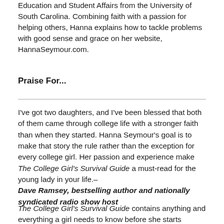Education and Student Affairs from the University of South Carolina. Combining faith with a passion for helping others, Hanna explains how to tackle problems with good sense and grace on her website, HannaSeymour.com.
Praise For...
I've got two daughters, and I've been blessed that both of them came through college life with a stronger faith than when they started. Hanna Seymour's goal is to make that story the rule rather than the exception for every college girl. Her passion and experience make The College Girl's Survival Guide a must-read for the young lady in your life.– Dave Ramsey, bestselling author and nationally syndicated radio show host
The College Girl's Survival Guide contains anything and everything a girl needs to know before she starts